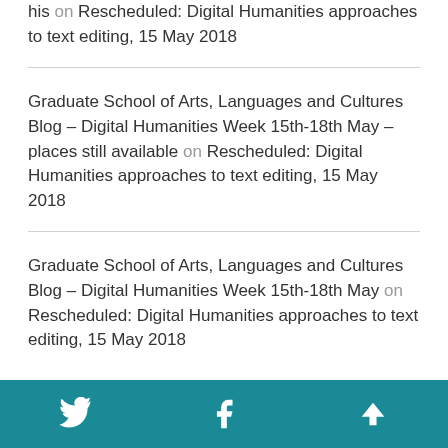his on Rescheduled: Digital Humanities approaches to text editing, 15 May 2018
Graduate School of Arts, Languages and Cultures Blog – Digital Humanities Week 15th-18th May – places still available on Rescheduled: Digital Humanities approaches to text editing, 15 May 2018
Graduate School of Arts, Languages and Cultures Blog – Digital Humanities Week 15th-18th May on Rescheduled: Digital Humanities approaches to text editing, 15 May 2018
Twitter | Facebook | Up